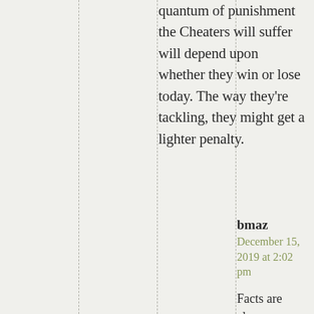quantum of punishment the Cheaters will suffer will depend upon whether they win or lose today. The way they're tackling, they might get a lighter penalty.
bmaz
December 15, 2019 at 2:02 pm
Facts are always relevant, and the facts are that the Bengals are